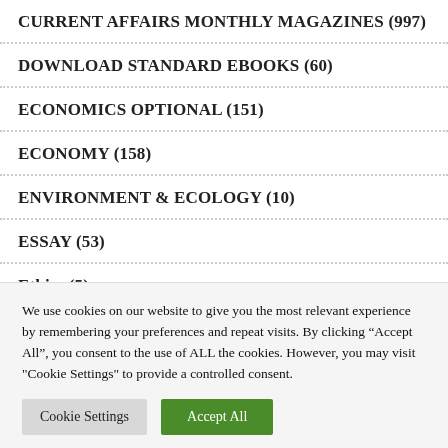CURRENT AFFAIRS MONTHLY MAGAZINES (997)
DOWNLOAD STANDARD EBOOKS (60)
ECONOMICS OPTIONAL (151)
ECONOMY (158)
ENVIRONMENT & ECOLOGY (10)
ESSAY (53)
Ethics (5)
GEOGRAPHY (9)
We use cookies on our website to give you the most relevant experience by remembering your preferences and repeat visits. By clicking “Accept All”, you consent to the use of ALL the cookies. However, you may visit "Cookie Settings" to provide a controlled consent.
Cookie Settings | Accept All